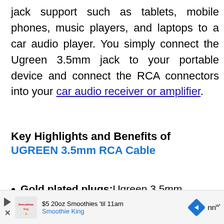jack support such as tablets, mobile phones, music players, and laptops to a car audio player. You simply connect the Ugreen 3.5mm jack to your portable device and connect the RCA connectors into your car audio receiver or amplifier.
Key Highlights and Benefits of UGREEN 3.5mm RCA Cable
Gold plated plugs: Ugreen 3.5mm
[Figure (other): Advertisement banner for Smoothie King: '$5 20oz Smoothies til 11am' with Smoothie King logo and navigation arrow icon]